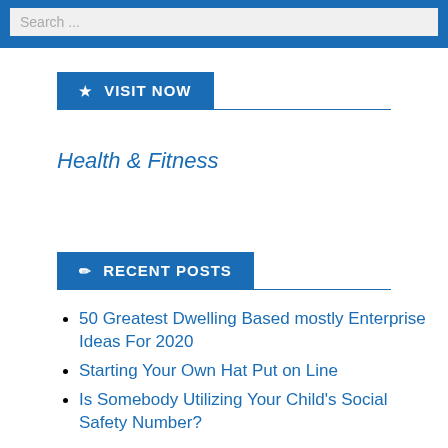Search ...
★ VISIT NOW
Health & Fitness
✏ RECENT POSTS
50 Greatest Dwelling Based mostly Enterprise Ideas For 2020
Starting Your Own Hat Put on Line
Is Somebody Utilizing Your Child's Social Safety Number?